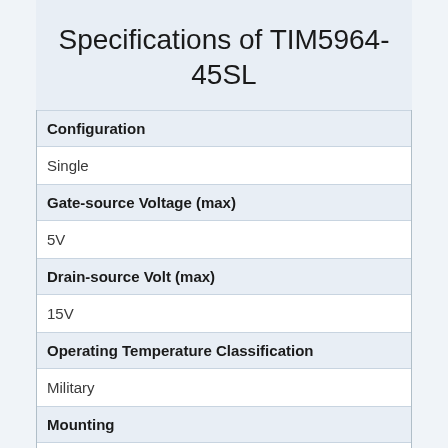Specifications of TIM5964-45SL
| Property | Value |
| --- | --- |
| Configuration | Single |
| Gate-source Voltage (max) | 5V |
| Drain-source Volt (max) | 15V |
| Operating Temperature Classification | Military |
| Mounting | Surface Mount |
| Pin Count | 3 |